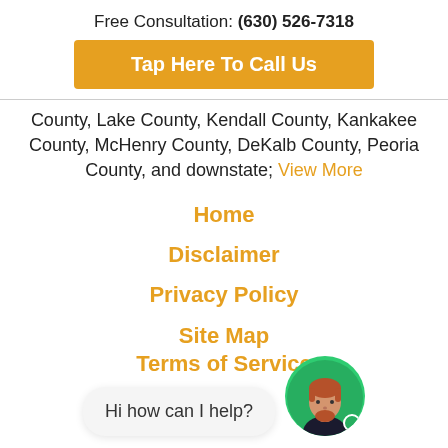Free Consultation: (630) 526-7318
Tap Here To Call Us
County, Lake County, Kendall County, Kankakee County, McHenry County, DeKalb County, Peoria County, and downstate; View More
Home
Disclaimer
Privacy Policy
Site Map
Terms of Service
[Figure (illustration): Chat widget with speech bubble saying 'Hi how can I help?' and a cartoon avatar of a man with red hair and beard on a green circular background with an online indicator dot]